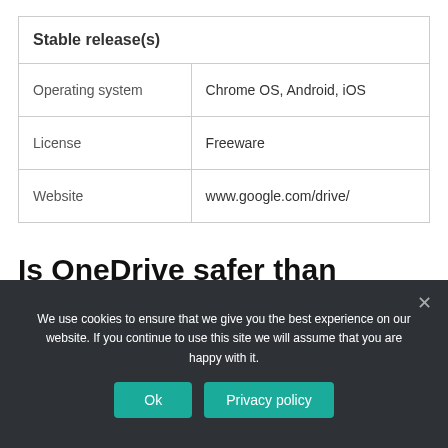| Stable release(s) |
| Operating system | Chrome OS, Android, iOS |
| License | Freeware |
| Website | www.google.com/drive/ |
Is OneDrive safer than Google Drive?
We use cookies to ensure that we give you the best experience on our website. If you continue to use this site we will assume that you are happy with it.